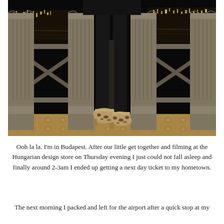[Figure (photo): A person wearing all black outfit (black top, black skinny pants, leopard print heels) posing on an ornate iron bridge at night. The bridge has decorative stone columns and ironwork. City lights reflecting on water are visible in the background.]
Ooh la la. I'm in Budapest. After our little get together and filming at the Hungarian design store on Thursday evening I just could not fall asleep and finally around 2-3am I ended up getting a next day ticket to my hometown.
The next morning I packed and left for the airport after a quick stop at my